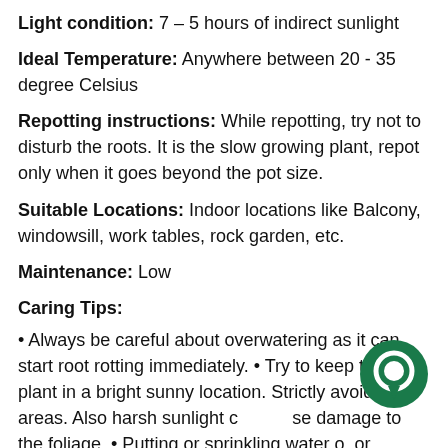Light condition: 7 – 5 hours of indirect sunlight
Ideal Temperature: Anywhere between 20 - 35 degree Celsius
Repotting instructions: While repotting, try not to disturb the roots. It is the slow growing plant, repot only when it goes beyond the pot size.
Suitable Locations: Indoor locations like Balcony, windowsill, work tables, rock garden, etc.
Maintenance: Low
Caring Tips:
Always be careful about overwatering as it can start root rotting immediately. • Try to keep this plant in a bright sunny location. Strictly avoid dark areas. Also harsh sunlight cause damage to the foliage. • Putting or sprinkling water on flowers will cause them to catch fungus infection. Avoid this at all times. Give water to soil only. • Even if the plant does not